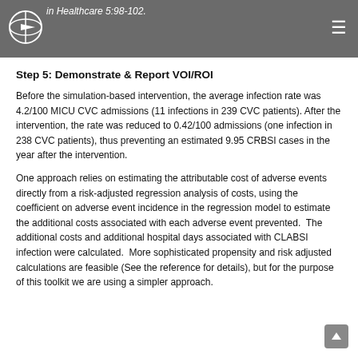in Healthcare 5:98-102.
Step 5: Demonstrate & Report VOI/ROI
Before the simulation-based intervention, the average infection rate was 4.2/100 MICU CVC admissions (11 infections in 239 CVC patients). After the intervention, the rate was reduced to 0.42/100 admissions (one infection in 238 CVC patients), thus preventing an estimated 9.95 CRBSI cases in the year after the intervention.
One approach relies on estimating the attributable cost of adverse events directly from a risk-adjusted regression analysis of costs, using the coefficient on adverse event incidence in the regression model to estimate the additional costs associated with each adverse event prevented.  The additional costs and additional hospital days associated with CLABSI infection were calculated.  More sophisticated propensity and risk adjusted calculations are feasible (See the reference for details), but for the purpose of this toolkit we are using a simpler approach.